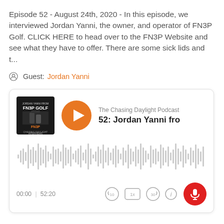Episode 52 - August 24th, 2020 - In this episode, we interviewed Jordan Yanni, the owner, and operator of FN3P Golf. CLICK HERE to head over to the FN3P Website and see what they have to offer. There are some sick lids and t...
Guest: Jordan Yanni
[Figure (screenshot): Podcast player card for 'The Chasing Daylight Podcast', episode '52: Jordan Yanni fro...' with album art, orange play button, audio waveform, timestamps 00:00 | 52:20, playback controls (rewind 10, 1x speed, forward 30), info button, and red microphone button.]